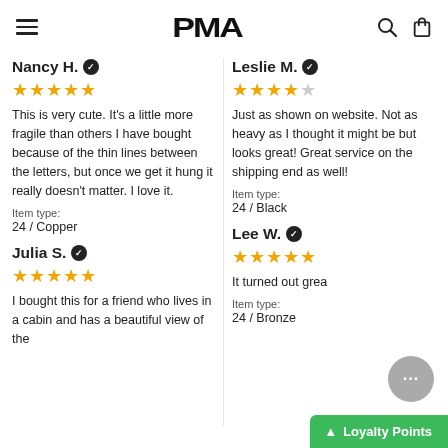PMA (logo with hamburger, search, and bag icons)
Nancy H. ✓
★★★★★ (5 stars)
This is very cute. It's a little more fragile than others I have bought because of the thin lines between the letters, but once we get it hung it really doesn't matter. I love it.
Item type:
24 / Copper
Julia S. ✓
★★★★★ (5 stars)
I bought this for a friend who lives in a cabin and has a beautiful view of the
Leslie M. ✓
★★★★☆ (4 stars)
Just as shown on website. Not as heavy as I thought it might be but looks great! Great service on the shipping end as well!
Item type:
24 / Black
Lee W. ✓
★★★★★ (5 stars)
It turned out grea
Item type:
24 / Bronze